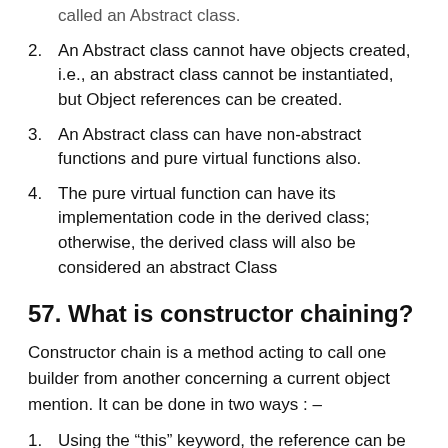2. An Abstract class cannot have objects created, i.e., an abstract class cannot be instantiated, but Object references can be created.
3. An Abstract class can have non-abstract functions and pure virtual functions also.
4. The pure virtual function can have its implementation code in the derived class; otherwise, the derived class will also be considered an abstract Class
57. What is constructor chaining?
Constructor chain is a method acting to call one builder from another concerning a current object mention. It can be done in two ways : –
1. Using the “this” keyword, the reference can be